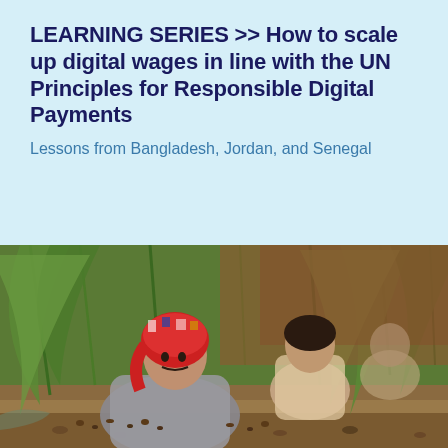LEARNING SERIES >> How to scale up digital wages in line with the UN Principles for Responsible Digital Payments
Lessons from Bangladesh, Jordan, and Senegal
[Figure (photo): Photo of women sitting outdoors among tall green plants/reeds, appearing to be agricultural workers. The woman in the foreground wears a colorful red patterned head wrap and grey clothing. Other individuals are visible in the background.]